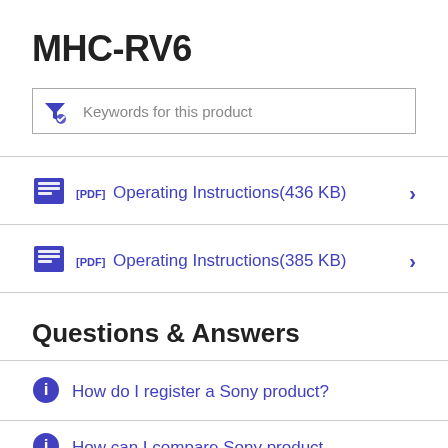MHC-RV6
[Figure (screenshot): Search filter input box with funnel/filter icon and placeholder text 'Keywords for this product']
[PDF] Operating Instructions (436 KB)
[PDF] Operating Instructions (385 KB)
Questions & Answers
How do I register a Sony product?
How can I compare Sony product